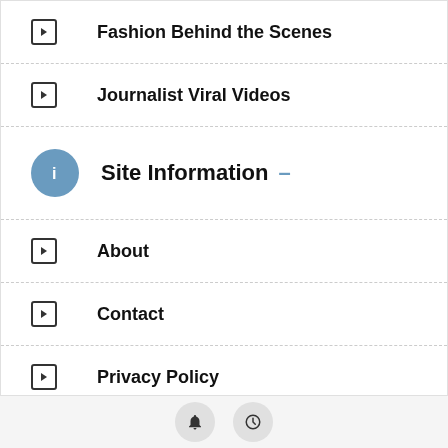Fashion Behind the Scenes
Journalist Viral Videos
Site Information
About
Contact
Privacy Policy
Website Disclaimer